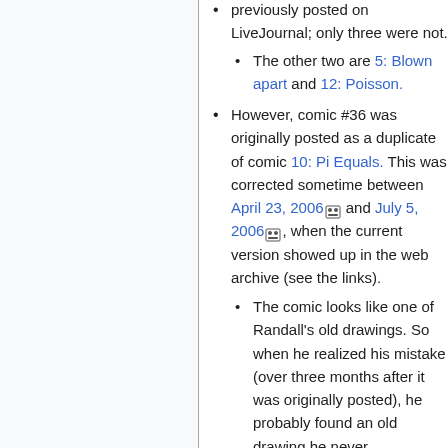previously posted on LiveJournal; only three were not.
The other two are 5: Blown apart and 12: Poisson.
However, comic #36 was originally posted as a duplicate of comic 10: Pi Equals. This was corrected sometime between April 23, 2006 and July 5, 2006, when the current version showed up in the web archive (see the links).
The comic looks like one of Randall's old drawings. So when he realized his mistake (over three months after it was originally posted), he probably found an old drawing he never